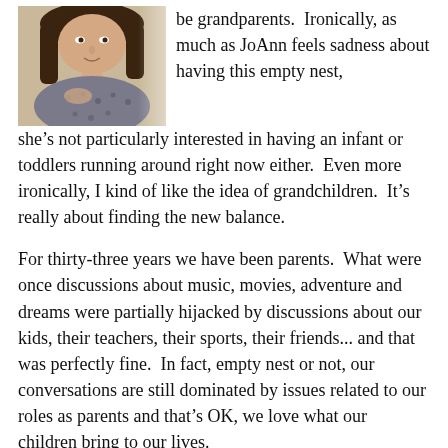[Figure (photo): Partial photo of a woman in a patterned top, cropped to upper body, positioned top-left of page.]
be grandparents.  Ironically, as much as JoAnn feels sadness about having this empty nest, she's not particularly interested in having an infant or toddlers running around right now either.  Even more ironically, I kind of like the idea of grandchildren.  It's really about finding the new balance.
For thirty-three years we have been parents.  What were once discussions about music, movies, adventure and dreams were partially hijacked by discussions about our kids, their teachers, their sports, their friends... and that was perfectly fine.  In fact, empty nest or not, our conversations are still dominated by issues related to our roles as parents and that's OK, we love what our children bring to our lives.